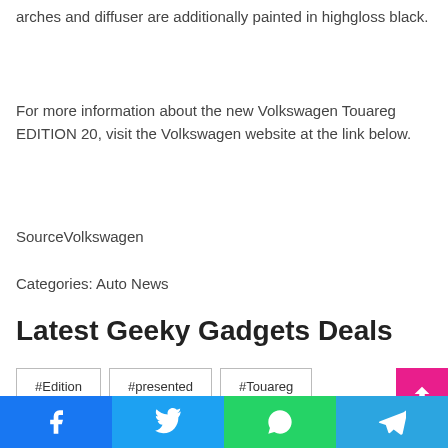arches and diffuser are additionally painted in highgloss black.
For more information about the new Volkswagen Touareg EDITION 20, visit the Volkswagen website at the link below.
SourceVolkswagen
Categories: Auto News
Latest Geeky Gadgets Deals
#Edition
#presented
#Touareg